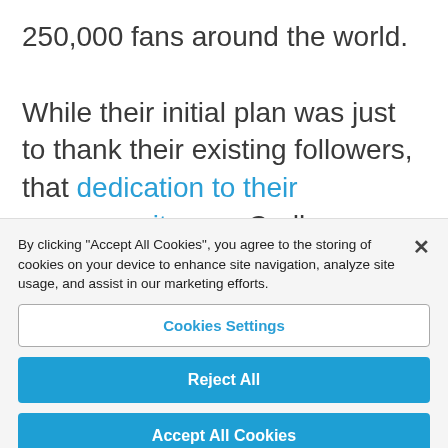250,000 fans around the world.

While their initial plan was just to thank their existing followers, that dedication to their commmunity won Cadbury even more fans in the process. So whatever your plan is,
By clicking "Accept All Cookies", you agree to the storing of cookies on your device to enhance site navigation, analyze site usage, and assist in our marketing efforts.
Cookies Settings
Reject All
Accept All Cookies